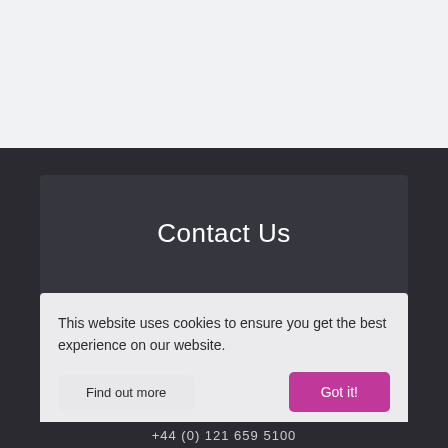Contact Us
This website uses cookies to ensure you get the best experience on our website.
Find out more
Got it!
+44 (0) 121 659 5100